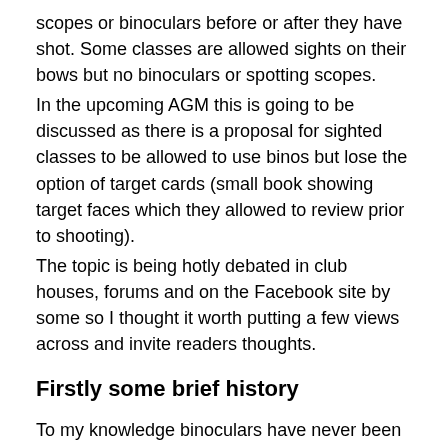scopes or binoculars before or after they have shot. Some classes are allowed sights on their bows but no binoculars or spotting scopes.
In the upcoming AGM this is going to be discussed as there is a proposal for sighted classes to be allowed to use binos but lose the option of target cards (small book showing target faces which they allowed to review prior to shooting).
The topic is being hotly debated in club houses, forums and on the Facebook site by some so I thought it worth putting a few views across and invite readers thoughts.
Firstly some brief history
To my knowledge binoculars have never been allowed as an aid to the archer. Marshalls have used them when